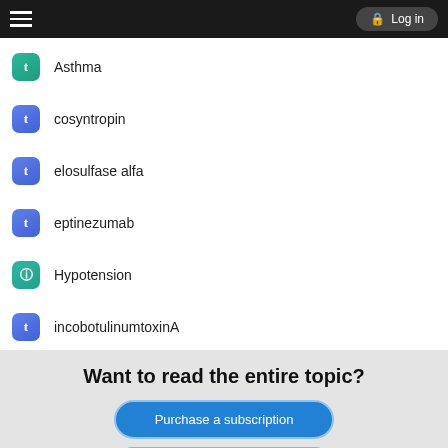Log in
Asthma
cosyntropin
elosulfase alfa
eptinezumab
Hypotension
incobotulinumtoxinA
Want to read the entire topic?
Purchase a subscription
I'm already a subscriber
Browse sample topics